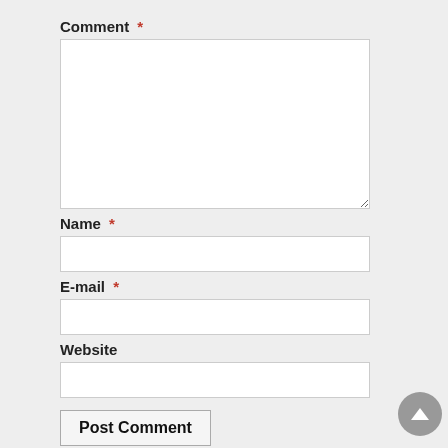Comment *
Name *
E-mail *
Website
Post Comment